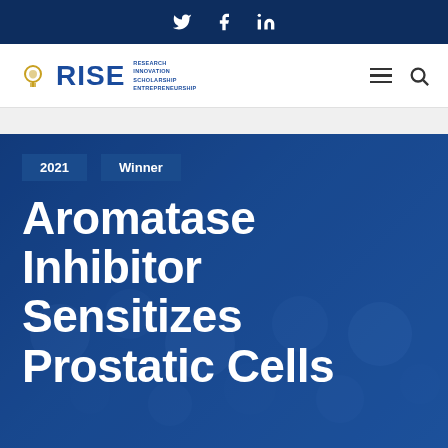Twitter Facebook LinkedIn (social media icons)
[Figure (logo): RISE logo with lightbulb icon and tagline: Research Innovation Scholarship Entrepreneurship]
2021 | Winner
Aromatase Inhibitor Sensitizes Prostatic Cells